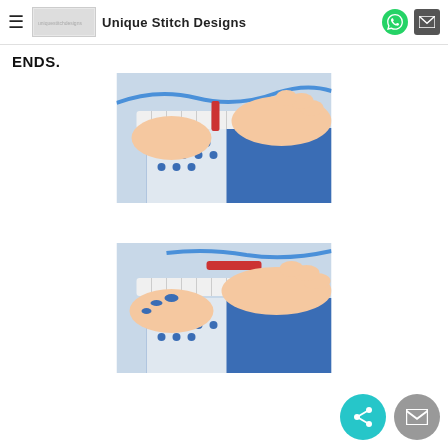Unique Stitch Designs
ENDS.
[Figure (photo): Hands working with blue and white crochet fabric and a red crochet hook, showing yarn technique close-up]
[Figure (photo): Hands working with blue and white crochet fabric and a red crochet hook, showing yarn technique from a slightly different angle]